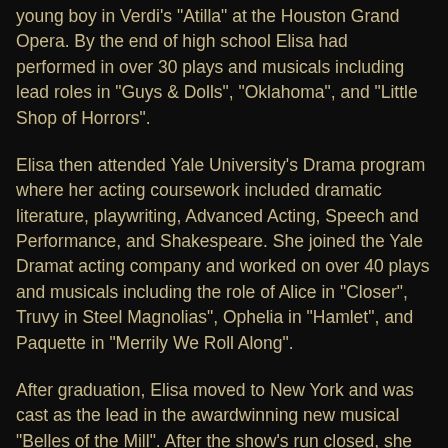young boy in Verdi's "Atilla" at the Houston Grand Opera. By the end of high school Elisa had performed in over 30 plays and musicals including lead roles in "Guys & Dolls", "Oklahoma", and "Little Shop of Horrors".
Elisa then attended Yale University's Drama program where her acting coursework included dramatic literature, playwriting, Advanced Acting, Speech and Performance, and Shakespeare. She joined the Yale Dramat acting company and worked on over 40 plays and musicals including the role of Alice in "Closer", Truvy in Steel Magnolias", Ophelia in "Hamlet", and Paquette in "Merrily We Roll Along".
After graduation, Elisa moved to New York and was cast as the lead in the awardwinning new musical "Belles of the Mill". After the show's run closed, she moved to Los Angeles, joined SAG and booked appearances on E!, FX's Nip/Tuck, MTV, Nickelodeon and the WB while working on numerous film projects including "The Caregiver" and "Necrosis" starring Tiffany, George Stults, and James Kyson-Lee. Elisa currently works as a professional actress, singer and voiceover artist, and is also founder and owner of the renowned Elisa Eliot's Acting Studio!